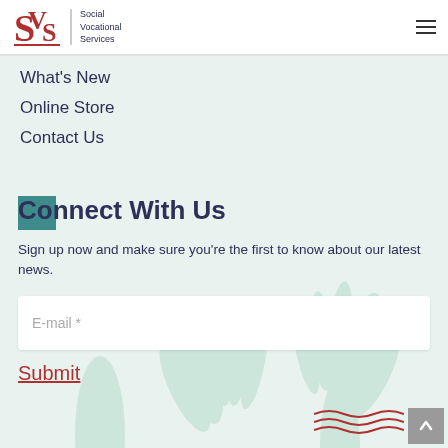SVS Social Vocational Services
What's New
Online Store
Contact Us
Connect With Us
Sign up now and make sure you're the first to know about our latest news.
E-mail *
Submit